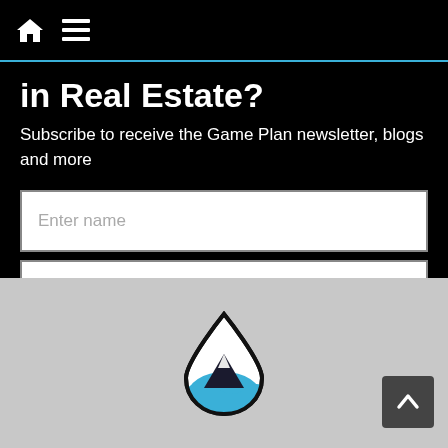Home | Menu
in Real Estate?
Subscribe to receive the Game Plan newsletter, blogs and more
Enter name
Enter email
YES, PLEASE!
[Figure (logo): Water drop logo with mountain silhouette and blue wave inside, black outline]